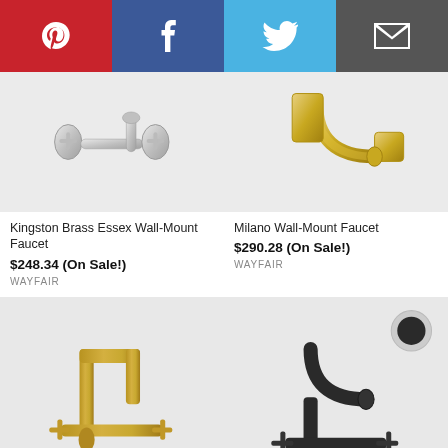[Figure (infographic): Social sharing bar with Pinterest (red), Facebook (dark blue), Twitter (light blue), and Email (dark gray) buttons]
[Figure (photo): Kingston Brass Essex Wall-Mount Faucet in chrome finish on light gray background]
Kingston Brass Essex Wall-Mount Faucet
$248.34 (On Sale!)
WAYFAIR
[Figure (photo): Milano Wall-Mount Faucet in polished brass/gold finish on light gray background]
Milano Wall-Mount Faucet
$290.28 (On Sale!)
WAYFAIR
[Figure (photo): Gold/brass brushed wall-mount faucet with cross handles and square-curve spout on light gray background]
[Figure (photo): Matte black wall-mount faucet with cross handles and curved spout on light gray background, with a circular swatch in top right showing a dark finish option]